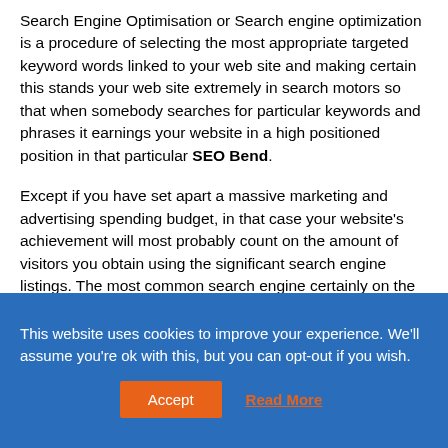Search Engine Optimisation or Search engine optimization is a procedure of selecting the most appropriate targeted keyword words linked to your web site and making certain this stands your web site extremely in search motors so that when somebody searches for particular keywords and phrases it earnings your website in a high positioned position in that particular SEO Bend.
Except if you have set apart a massive marketing and advertising spending budget, in that case your website's achievement will most probably count on the amount of visitors you obtain using the significant search engine listings. The most common search engine certainly on the web is Search engines, with about 60Percent of all the queries dealing with it. The other 40Percent is produced up by, Google, MSN, AOL and inquire.
This website uses cookies to improve your experience. We'll assume you're ok with this, but you can opt-out if you wish.